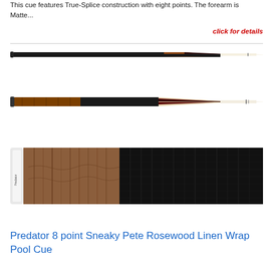This cue features True-Splice construction with eight points. The forearm is Matte...
click for details
[Figure (photo): Pool cue with dark butt and cream/white shaft, narrow profile view, with Predator logo near tip]
[Figure (photo): Pool cue with wood-grain rosewood butt section, dark decorative points, and cream/white shaft with Predator logo]
[Figure (photo): Close-up of pool cue butt showing rosewood forearm with wood grain and black linen wrap grip section, white ring accents]
Predator 8 point Sneaky Pete Rosewood Linen Wrap Pool Cue